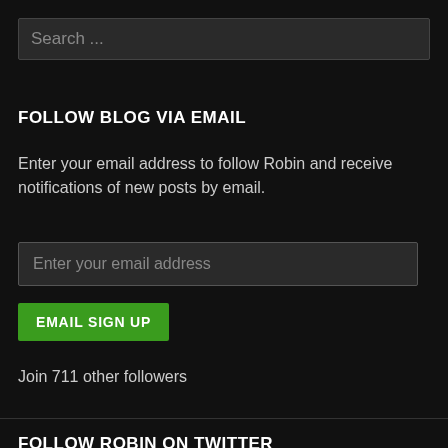Search ...
FOLLOW BLOG VIA EMAIL
Enter your email address to follow Robin and receive notifications of new posts by email.
Enter your email address
EMAIL SIGN UP
Join 711 other followers
FOLLOW ROBIN ON TWITTER